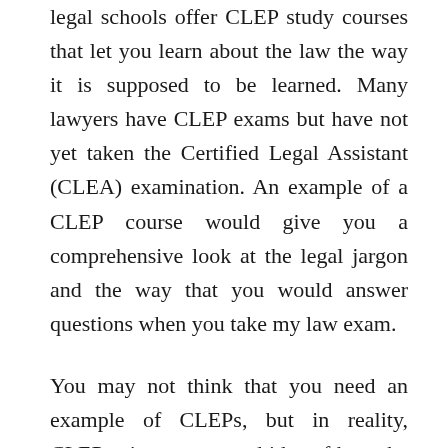legal schools offer CLEP study courses that let you learn about the law the way it is supposed to be learned. Many lawyers have CLEP exams but have not yet taken the Certified Legal Assistant (CLEA) examination. An example of a CLEP course would give you a comprehensive look at the legal jargon and the way that you would answer questions when you take my law exam.
You may not think that you need an example of CLEPs, but in reality, CLEPs give you a good idea of how the question is going to be answered. In essence, CLEP exams test you on the skills that lawyers use everyday, and that are not covered in any text book. These skills can be used to help you predict how the exam will end up being answered, and this in turn can save you valuable time on the day of the exam. A CLEP also shows you what types of questions will be asked, how the questions are scored, and how the test is